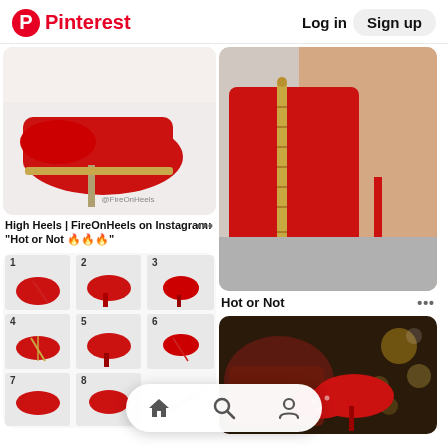Pinterest  Log in  Sign up
[Figure (photo): Red high heel shoes on white background with @FireOnHeels watermark]
High Heels | FireOnHeels on Instagram: “Hot or Not 🔥🔥🔥”
[Figure (photo): Red suede high heel shoe with zipper detail on back, viewed from behind]
Hot or Not
[Figure (photo): Collage of 8 red high heel shoes numbered 1-8 with @FireOnHeels watermark]
[Figure (photo): Red high heel shoe with polka dot pattern in nighttime/bokeh background]